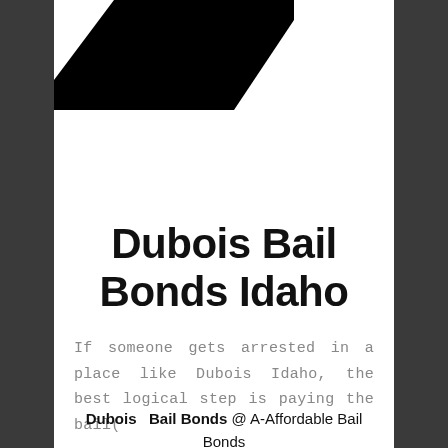[Figure (photo): Partial black and white photo visible in upper left corner of the white content area, appears to be a dark angular shape against white background]
Dubois Bail Bonds Idaho
If someone gets arrested in a place like Dubois Idaho, the best logical step is paying the bail(
Dubois  Bail Bonds @ A-Affordable Bail Bonds